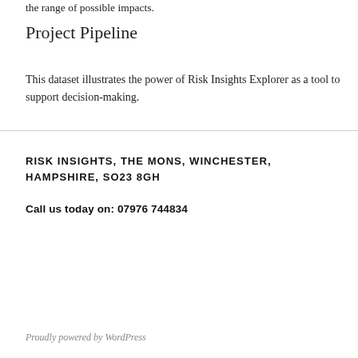the range of possible impacts.
Project Pipeline
This dataset illustrates the power of Risk Insights Explorer as a tool to support decision-making.
RISK INSIGHTS, THE MONS, WINCHESTER, HAMPSHIRE, SO23 8GH
Call us today on: 07976 744834
Proudly powered by WordPress